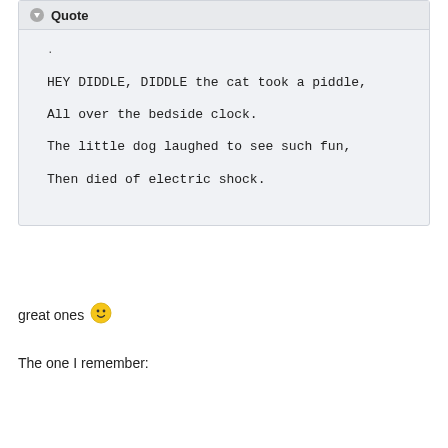Quote
.
HEY DIDDLE, DIDDLE the cat took a piddle,
All over the bedside clock.
The little dog laughed to see such fun,
Then died of electric shock.
great ones 🙂
The one I remember: